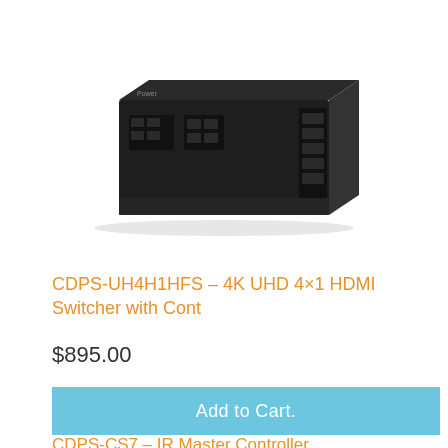[Figure (photo): Black rack-mountable HDMI switcher device, viewed from a slight angle showing the front panel with buttons and rear connectors, on a white background.]
CDPS-UH4H1HFS – 4K UHD 4×1 HDMI Switcher with Cont
$895.00
Add to Cart.
CDPS-CS7 – IR Master Controller